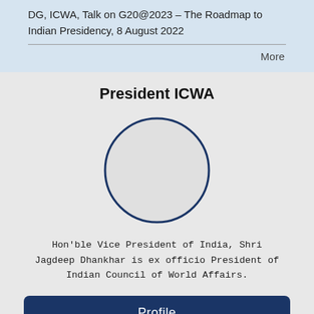DG, ICWA, Talk on G20@2023 – The Roadmap to Indian Presidency, 8 August 2022
More
President ICWA
[Figure (illustration): Circular portrait placeholder with dark blue border outline on light gray background]
Hon'ble Vice President of India, Shri Jagdeep Dhankhar is ex officio President of Indian Council of World Affairs.
Profile